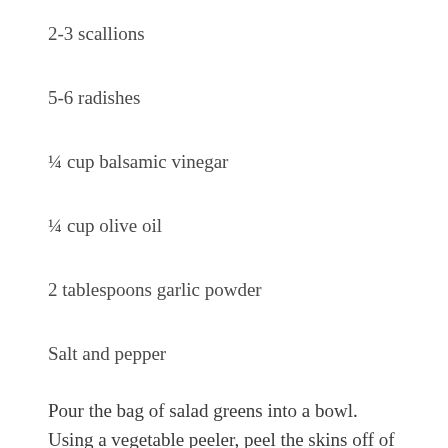2-3 scallions
5-6 radishes
¼ cup balsamic vinegar
¼ cup olive oil
2 tablespoons garlic powder
Salt and pepper
Pour the bag of salad greens into a bowl. Using a vegetable peeler, peel the skins off of the zucchini, yellow squash and carrot and discard them. Then, using the peeler, slice the vegetables over the salad